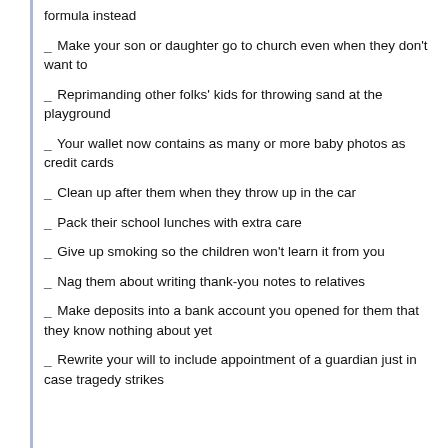formula instead
_ Make your son or daughter go to church even when they don't want to
_ Reprimanding other folks' kids for throwing sand at the playground
_ Your wallet now contains as many or more baby photos as credit cards
_ Clean up after them when they throw up in the car
_ Pack their school lunches with extra care
_ Give up smoking so the children won't learn it from you
_ Nag them about writing thank-you notes to relatives
_ Make deposits into a bank account you opened for them that they know nothing about yet
_ Rewrite your will to include appointment of a guardian just in case tragedy strikes